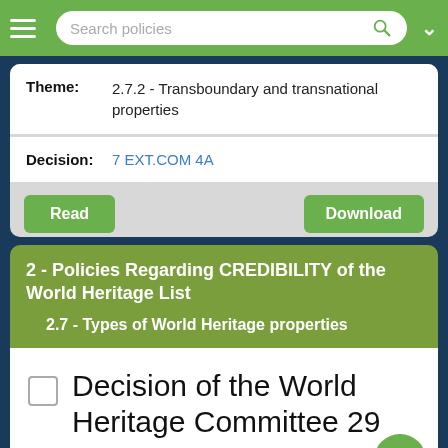Search policies
Theme: 2.7.2 - Transboundary and transnational properties
Decision: 7 EXT.COM 4A
Read | Download
2 - Policies Regarding CREDIBILITY of the World Heritage List
2.7 - Types of World Heritage properties
Decision of the World Heritage Committee 29 COM 18A